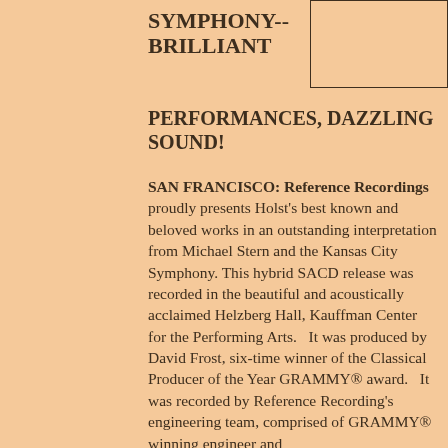SYMPHONY-- BRILLIANT
[Figure (other): Rectangular image placeholder box, empty, outlined]
PERFORMANCES, DAZZLING SOUND!
SAN FRANCISCO: Reference Recordings proudly presents Holst's best known and beloved works in an outstanding interpretation from Michael Stern and the Kansas City Symphony. This hybrid SACD release was recorded in the beautiful and acoustically acclaimed Helzberg Hall, Kauffman Center for the Performing Arts.   It was produced by David Frost, six-time winner of the Classical Producer of the Year GRAMMY® award.   It was recorded by Reference Recording's engineering team, comprised of GRAMMY® winning engineer and